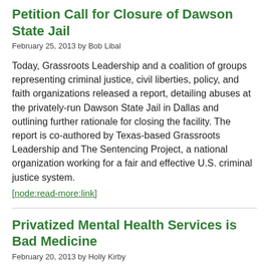Petition Call for Closure of Dawson State Jail
February 25, 2013 by Bob Libal
Today, Grassroots Leadership and a coalition of groups representing criminal justice, civil liberties, policy, and faith organizations released a report, detailing abuses at the privately-run Dawson State Jail in Dallas and outlining further rationale for closing the facility. The report is co-authored by Texas-based Grassroots Leadership and The Sentencing Project, a national organization working for a fair and effective U.S. criminal justice system.
[node:read-more:link]
Privatized Mental Health Services is Bad Medicine
February 20, 2013 by Holly Kirby